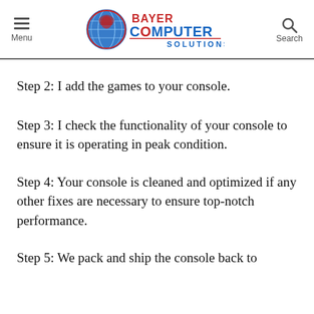Menu | Bayer Computer Solutions | Search
Step 2: I add the games to your console.
Step 3: I check the functionality of your console to ensure it is operating in peak condition.
Step 4: Your console is cleaned and optimized if any other fixes are necessary to ensure top-notch performance.
Step 5: We pack and ship the console back to you via USPS Priority Mail with insurance for your